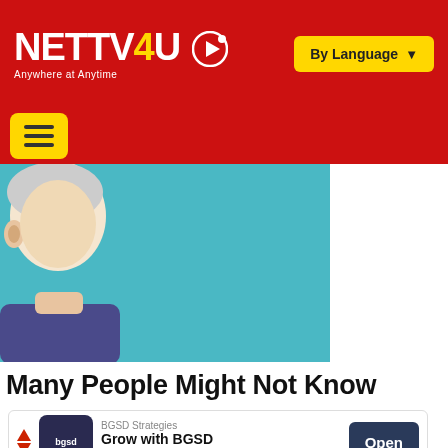NETTV4U — Anywhere at Anytime | By Language
[Figure (screenshot): Navigation bar with yellow hamburger menu button on red background]
[Figure (illustration): Cartoon illustration of a person against a teal/cyan background]
Many People Might Not Know
[Figure (screenshot): Advertisement banner: BGSD Strategies — Grow with BGSD Strategies — Open button]